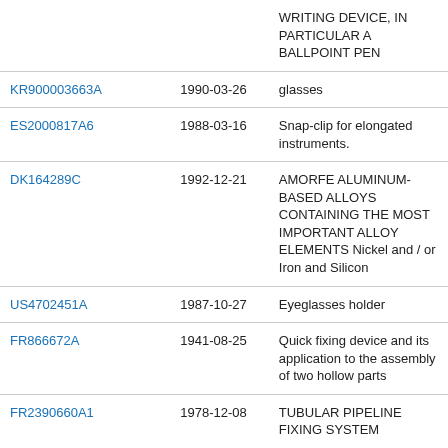|  |  | WRITING DEVICE, IN PARTICULAR A BALLPOINT PEN |
| KR900003663A | 1990-03-26 | glasses |
| ES2000817A6 | 1988-03-16 | Snap-clip for elongated instruments. |
| DK164289C | 1992-12-21 | AMORFE ALUMINUM-BASED ALLOYS CONTAINING THE MOST IMPORTANT ALLOY ELEMENTS Nickel and / or Iron and Silicon |
| US4702451A | 1987-10-27 | Eyeglasses holder |
| FR866672A | 1941-08-25 | Quick fixing device and its application to the assembly of two hollow parts |
| FR2390660A1 | 1978-12-08 | TUBULAR PIPELINE FIXING SYSTEM |
| Mayer et al. | 1983 | The influence of the school principal on the... |